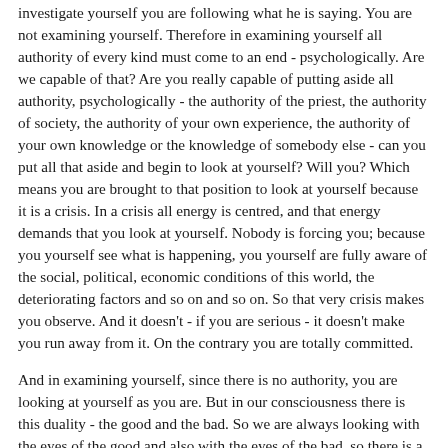investigate yourself you are following what he is saying. You are not examining yourself. Therefore in examining yourself all authority of every kind must come to an end - psychologically. Are we capable of that? Are you really capable of putting aside all authority, psychologically - the authority of the priest, the authority of society, the authority of your own experience, the authority of your own knowledge or the knowledge of somebody else - can you put all that aside and begin to look at yourself? Will you? Which means you are brought to that position to look at yourself because it is a crisis. In a crisis all energy is centred, and that energy demands that you look at yourself. Nobody is forcing you; because you yourself see what is happening, you yourself are fully aware of the social, political, economic conditions of this world, the deteriorating factors and so on and so on. So that very crisis makes you observe. And it doesn't - if you are serious - it doesn't make you run away from it. On the contrary you are totally committed.
And in examining yourself, since there is no authority, you are looking at yourself as you are. But in our consciousness there is this duality - the good and the bad. So we are always looking with the eyes of the good and also with the eyes of the bad, so there is a conflict. I don't know if you follow? Now we are trying to eliminate all conflict altogether. That is only possible when you observe without any choice - just to observe yourself. Therefore in that way you eliminate the conflict between the good and the bad. You understand? Do it please as we are talking about it, if you are...